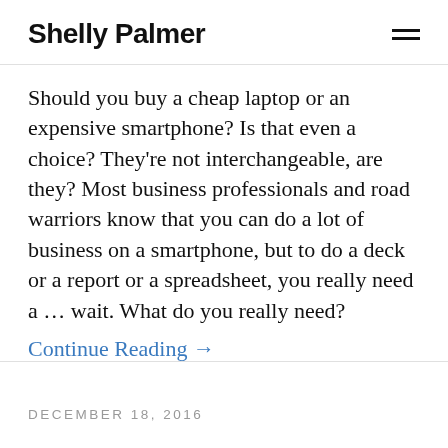Shelly Palmer
Should you buy a cheap laptop or an expensive smartphone? Is that even a choice? They're not interchangeable, are they? Most business professionals and road warriors know that you can do a lot of business on a smartphone, but to do a deck or a report or a spreadsheet, you really need a … wait. What do you really need?
Continue Reading →
DECEMBER 18, 2016